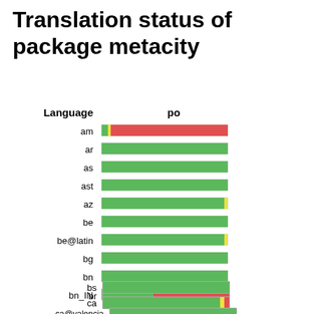Translation status of package metacity
[Figure (stacked-bar-chart): Translation status of package metacity]